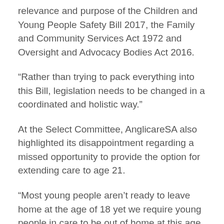relevance and purpose of the Children and Young People Safety Bill 2017, the Family and Community Services Act 1972 and Oversight and Advocacy Bodies Act 2016.
“Rather than trying to pack everything into this Bill, legislation needs to be changed in a coordinated and holistic way.”
At the Select Committee, AnglicareSA also highlighted its disappointment regarding a missed opportunity to provide the option for extending care to age 21.
“Most young people aren’t ready to leave home at the age of 18 yet we require young people in care to be out of home at this age. Given their background,